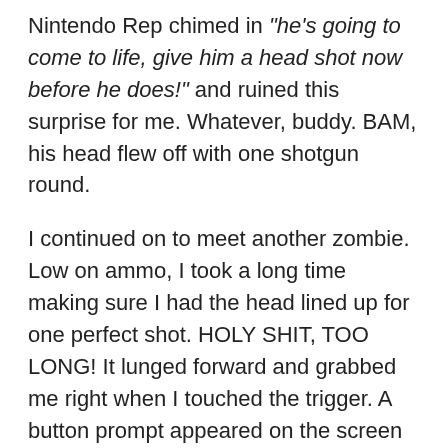Nintendo Rep chimed in "he's going to come to life, give him a head shot now before he does!" and ruined this surprise for me. Whatever, buddy. BAM, his head flew off with one shotgun round.
I continued on to meet another zombie. Low on ammo, I took a long time making sure I had the head lined up for one perfect shot. HOLY SHIT, TOO LONG! It lunged forward and grabbed me right when I touched the trigger. A button prompt appeared on the screen and I shook him off. BAM, I took my headshot straight away and finished it. My health had gone down to half, but it didn't bite me.
1 bullet remaining. I turned around and 3 more zombies had climbed over something to enter the